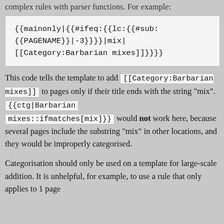complex rules with parser functions. For example:
This code tells the template to add [[Category:Barbarian mixes]] to pages only if their title ends with the string "mix". {{ctg|Barbarian mixes::ifmatches[mix]}} would not work here, because several pages include the substring "mix" in other locations, and they would be improperly categorised.
Categorisation should only be used on a template for large-scale addition. It is unhelpful, for example, to use a rule that only applies to 1 page